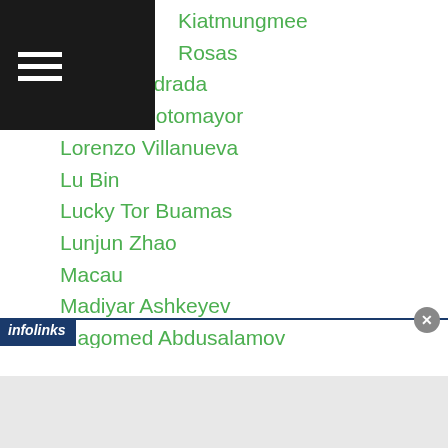Kiatmungmee
Rosas
Lorenz Ladrada
Lorenzo Sotomayor
Lorenzo Villanueva
Lu Bin
Lucky Tor Buamas
Lunjun Zhao
Macau
Madiyar Ashkeyev
Magomed Abdusalamov
Magomedrasul Majidov
Mahammadrasul Majidov
Makhmud Gaipov
Mako Matsuyama
Fuchigami
infolinks